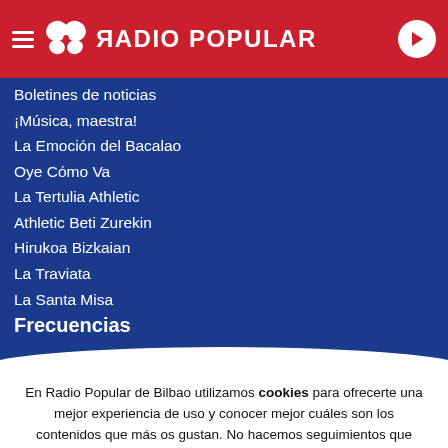RADIO POPULAR
Boletines de noticias
¡Música, maestra!
La Emoción del Bacalao
Oye Cómo Va
La Tertulia Athletic
Athletic Beti Zurekin
Hirukoa Bizkaian
La Traviata
La Santa Misa
Frecuencias
En Radio Popular de Bilbao utilizamos cookies para ofrecerte una mejor experiencia de uso y conocer mejor cuáles son los contenidos que más os gustan. No hacemos seguimientos que invadan tu privacidad ni ofrecemos publicidad personalizada según tu navegación. Al hacer clic en 'Aceptar todo', aceptas el uso de TODAS las cookies.
Rechazar y salir | Aceptar todas y continuar | Leer más